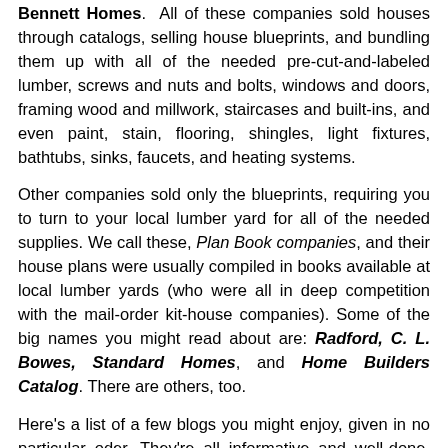Bennett Homes. All of these companies sold houses through catalogs, selling house blueprints, and bundling them up with all of the needed pre-cut-and-labeled lumber, screws and nuts and bolts, windows and doors, framing wood and millwork, staircases and built-ins, and even paint, stain, flooring, shingles, light fixtures, bathtubs, sinks, faucets, and heating systems.
Other companies sold only the blueprints, requiring you to turn to your local lumber yard for all of the needed supplies. We call these, Plan Book companies, and their house plans were usually compiled in books available at local lumber yards (who were all in deep competition with the mail-order kit-house companies). Some of the big names you might read about are: Radford, C. L. Bowes, Standard Homes, and Home Builders Catalog. There are others, too.
Here's a list of a few blogs you might enjoy, given in no particular oder. They're all informative and well-done. They're not updated daily, because research takes time, but each post is worth the wait: